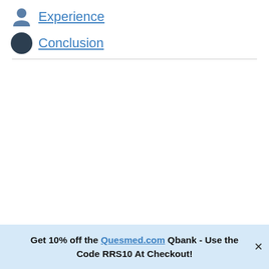Experience
Conclusion
Get 10% off the Quesmed.com Qbank - Use the Code RRS10 At Checkout!